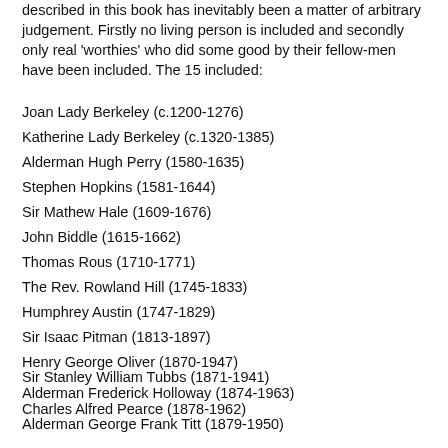described in this book has inevitably been a matter of arbitrary judgement. Firstly no living person is included and secondly only real 'worthies' who did some good by their fellow-men have been included. The 15 included:
Joan Lady Berkeley (c.1200-1276)
Katherine Lady Berkeley (c.1320-1385)
Alderman Hugh Perry (1580-1635)
Stephen Hopkins (1581-1644)
Sir Mathew Hale (1609-1676)
John Biddle (1615-1662)
Thomas Rous (1710-1771)
The Rev. Rowland Hill (1745-1833)
Humphrey Austin (1747-1829)
Sir Isaac Pitman (1813-1897)
Henry George Oliver (1870-1947)
Sir Stanley William Tubbs (1871-1941)
Alderman Frederick Holloway (1874-1963)
Charles Alfred Pearce (1878-1962)
Alderman George Frank Titt (1879-1950)
This book is out of print but is available in the Heritage Centre Research Room for viewing.